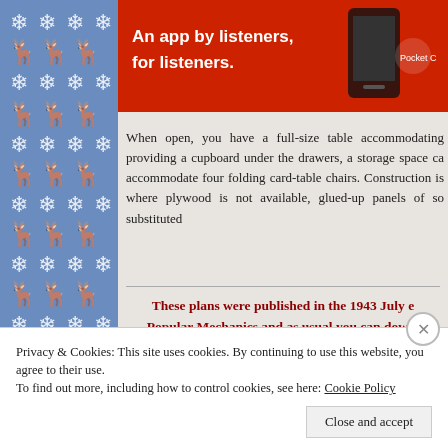[Figure (other): Blue decorative border pattern on the left with reindeer and snowflake motifs in white on blue background]
[Figure (other): Red advertisement banner for Pocket Casts app: 'An app by listeners, for listeners.' with phone image and Pocket Casts logo]
When open, you have a full-size table accommodating providing a cupboard under the drawers, a storage space ca accommodate four folding card-table chairs. Construction is where plywood is not available, glued-up panels of so substituted
These plans were published in the 1943 July e Popular Mechanics and as usual you can downl for free by clicking the icon below
Privacy & Cookies: This site uses cookies. By continuing to use this website, you agree to their use.
To find out more, including how to control cookies, see here: Cookie Policy
Close and accept